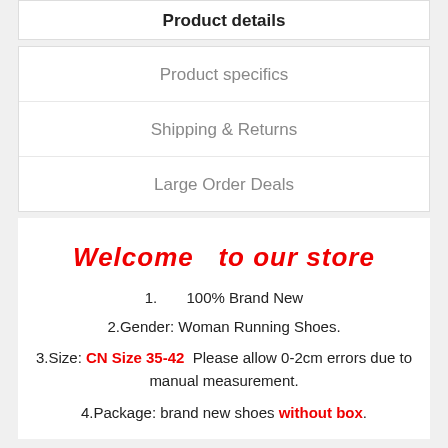Product details
Product specifics
Shipping & Returns
Large Order Deals
Welcome  to our store
1.      100% Brand New
2.Gender: Woman Running Shoes.
3.Size: CN Size 35-42  Please allow 0-2cm errors due to manual measurement.
4.Package: brand new shoes without box.